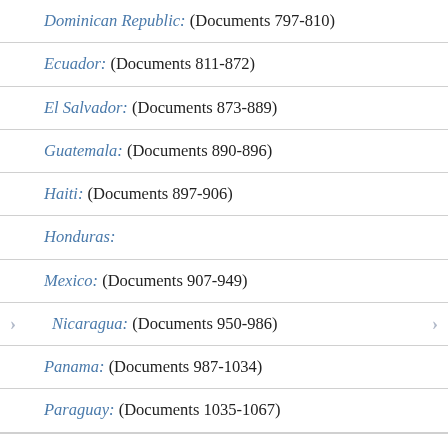Dominican Republic: (Documents 797–810)
Ecuador: (Documents 811–872)
El Salvador: (Documents 873–889)
Guatemala: (Documents 890–896)
Haiti: (Documents 897–906)
Honduras:
Mexico: (Documents 907–949)
Nicaragua: (Documents 950–986)
Panama: (Documents 987–1034)
Paraguay: (Documents 1035–1067)
Peru: (Documents 1068–1115)